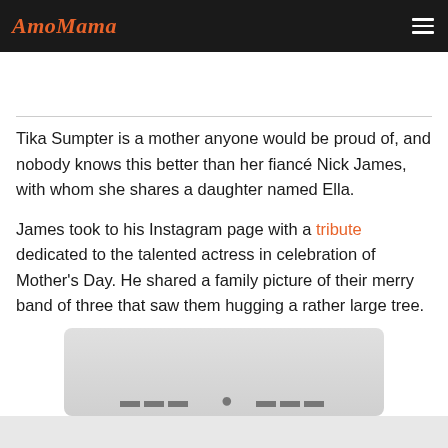AmoMama
Tika Sumpter is a mother anyone would be proud of, and nobody knows this better than her fiancé Nick James, with whom she shares a daughter named Ella.
James took to his Instagram page with a tribute dedicated to the talented actress in celebration of Mother's Day. He shared a family picture of their merry band of three that saw them hugging a rather large tree.
[Figure (photo): Partially visible photo showing what appears to be people, cropped at the bottom of the page]